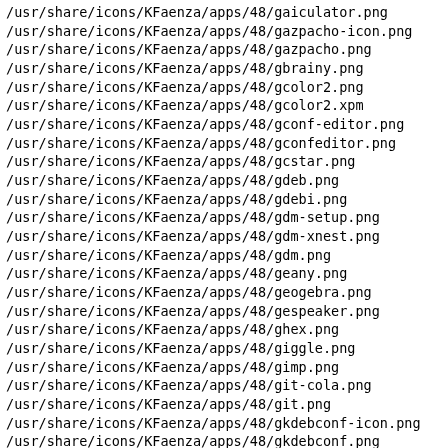/usr/share/icons/KFaenza/apps/48/gaiculator.png
/usr/share/icons/KFaenza/apps/48/gazpacho-icon.png
/usr/share/icons/KFaenza/apps/48/gazpacho.png
/usr/share/icons/KFaenza/apps/48/gbrainy.png
/usr/share/icons/KFaenza/apps/48/gcolor2.png
/usr/share/icons/KFaenza/apps/48/gcolor2.xpm
/usr/share/icons/KFaenza/apps/48/gconf-editor.png
/usr/share/icons/KFaenza/apps/48/gconfeditor.png
/usr/share/icons/KFaenza/apps/48/gcstar.png
/usr/share/icons/KFaenza/apps/48/gdeb.png
/usr/share/icons/KFaenza/apps/48/gdebi.png
/usr/share/icons/KFaenza/apps/48/gdm-setup.png
/usr/share/icons/KFaenza/apps/48/gdm-xnest.png
/usr/share/icons/KFaenza/apps/48/gdm.png
/usr/share/icons/KFaenza/apps/48/geany.png
/usr/share/icons/KFaenza/apps/48/geogebra.png
/usr/share/icons/KFaenza/apps/48/gespeaker.png
/usr/share/icons/KFaenza/apps/48/ghex.png
/usr/share/icons/KFaenza/apps/48/giggle.png
/usr/share/icons/KFaenza/apps/48/gimp.png
/usr/share/icons/KFaenza/apps/48/git-cola.png
/usr/share/icons/KFaenza/apps/48/git.png
/usr/share/icons/KFaenza/apps/48/gkdebconf-icon.png
/usr/share/icons/KFaenza/apps/48/gkdebconf.png
/usr/share/icons/KFaenza/apps/48/gksu-debian.png
/usr/share/icons/KFaenza/apps/48/gksu-root-terminal.png
/usr/share/icons/KFaenza/apps/48/glade-3.png
/usr/share/icons/KFaenza/apps/48/glade.png
/usr/share/icons/KFaenza/apps/48/glippy.png
/usr/share/icons/KFaenza/apps/48/gloobus-preview.png